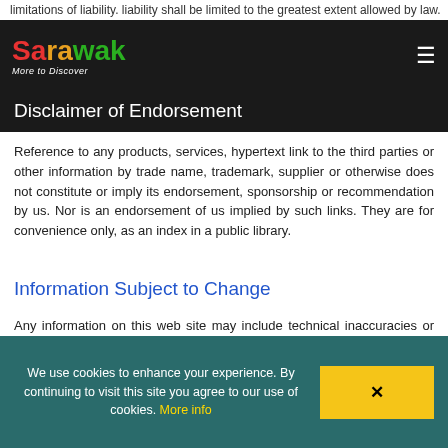limitations of liability. liability shall be limited to the greatest extent allowed by law.
[Figure (logo): Sarawak More to Discover logo with colorful text on dark background]
Disclaimer of Endorsement
Reference to any products, services, hypertext link to the third parties or other information by trade name, trademark, supplier or otherwise does not constitute or imply its endorsement, sponsorship or recommendation by us. Nor is an endorsement of us implied by such links. They are for convenience only, as an index in a public library.
Information Subject to Change
Any information on this web site may include technical inaccuracies or typographical errors. Furthermore, the information may change from time to time without any notice.
We use cookies to enhance your experience. By continuing to visit this site you agree to our use of cookies. More info